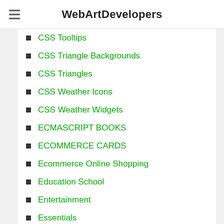WebArtDevelopers
CSS Tooltips
CSS Triangle Backgrounds
CSS Triangles
CSS Weather Icons
CSS Weather Widgets
ECMASCRIPT BOOKS
ECOMMERCE CARDS
Ecommerce Online Shopping
Education School
Entertainment
Essentials
FIXED (STICKY) HEADERS
FLIP CARDS
FOOTERS